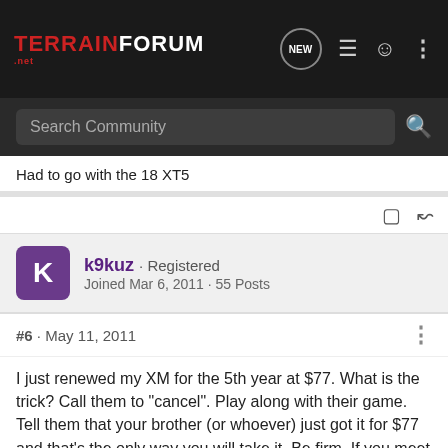TerrainForum .net
Had to go with the 18 XT5
k9kuz · Registered
Joined Mar 6, 2011 · 55 Posts
#6 · May 11, 2011
I just renewed my XM for the 5th year at $77. What is the trick? Call them to "cancel". Play along with their game. Tell them that your brother (or whoever) just got it for $77 and that's the only way you will take it. Be firm. If you meet severe resistance just hang up and call back and get someone else. You will get it, and never give them a CC #, have a invoice mailed to you,